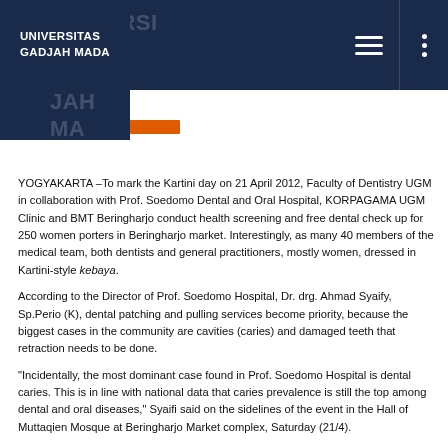UNIVERSITAS GADJAH MADA
YOGYAKARTA –To mark the Kartini day on 21 April 2012, Faculty of Dentistry UGM in collaboration with Prof. Soedomo Dental and Oral Hospital, KORPAGAMA UGM Clinic and BMT Beringharjo conduct health screening and free dental check up for 250 women porters in Beringharjo market. Interestingly, as many 40 members of the medical team, both dentists and general practitioners, mostly women, dressed in Kartini-style kebaya.
According to the Director of Prof. Soedomo Hospital, Dr. drg. Ahmad Syaify, Sp.Perio (K), dental patching and pulling services become priority, because the biggest cases in the community are cavities (caries) and damaged teeth that retraction needs to be done.
"Incidentally, the most dominant case found in Prof. Soedomo Hospital is dental caries. This is in line with national data that caries prevalence is still the top among dental and oral diseases," Syaifi said on the sidelines of the event in the Hall of Muttaqien Mosque at Beringharjo Market complex, Saturday (21/4).